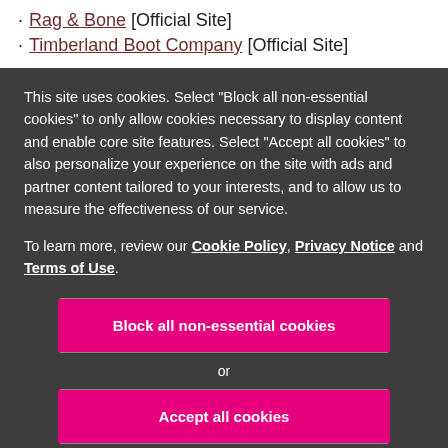· Rag & Bone [Official Site]
· Timberland Boot Company [Official Site]
This site uses cookies. Select "Block all non-essential cookies" to only allow cookies necessary to display content and enable core site features. Select "Accept all cookies" to also personalize your experience on the site with ads and partner content tailored to your interests, and to allow us to measure the effectiveness of our service.
To learn more, review our Cookie Policy, Privacy Notice and Terms of Use.
Block all non-essential cookies
or
Accept all cookies